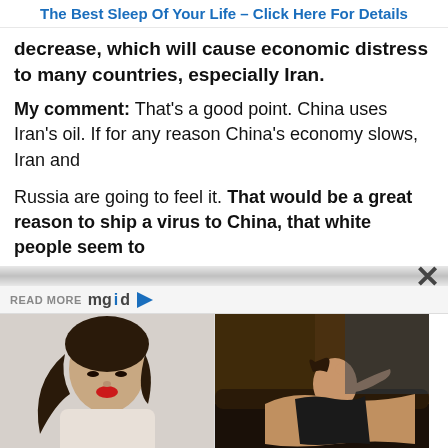The Best Sleep Of Your Life – Click Here For Details
decrease, which will cause economic distress to many countries, especially Iran.
My comment: That's a good point. China uses Iran's oil. If for any reason China's economy slows, Iran and
Russia are going to feel it. That would be a great reason to ship a virus to China, that white people seem to
READ MORE mgid
[Figure (photo): Young Asian woman with long dark hair and red lips, fashion photo]
Top 9 Predicted Haircut Trends Of 2020
[Figure (photo): Woman in black top lying on a couch, Jennifer Lopez style photo]
She's Not Shy About Sharing - Jennifer Lopez's Body Hacks